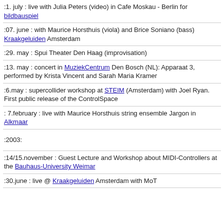:1. july : live with Julia Peters (video) in Cafe Moskau - Berlin for bildbauspiel
:07. june : with Maurice Horsthuis (viola) and Brice Soniano (bass) Kraakgeluiden Amsterdam
:29. may : Spui Theater Den Haag (improvisation)
:13. may : concert in MuziekCentrum Den Bosch (NL): Apparaat 3, performed by Krista Vincent and Sarah Maria Kramer
:6.may : supercollider workshop at STEIM (Amsterdam) with Joel Ryan. First public release of the ControlSpace
: 7.february : live with Maurice Horsthuis string ensemble Jargon in Alkmaar
:2003:
:14/15.november : Guest Lecture and Workshop about MIDI-Controllers at the Bauhaus-University Weimar
:30.june : live @ Kraakgeluiden Amsterdam with MoT